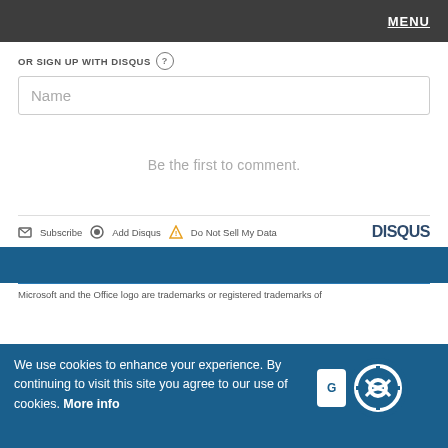MENU
OR SIGN UP WITH DISQUS ?
Name
Be the first to comment.
Subscribe  Add Disqus  Do Not Sell My Data  DISQUS
Microsoft and the Office logo are trademarks or registered trademarks of
We use cookies to enhance your experience. By continuing to visit this site you agree to our use of cookies. More info